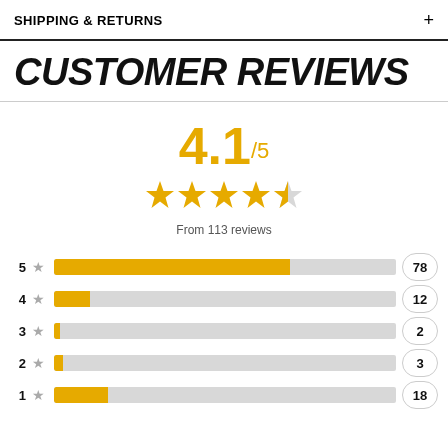SHIPPING & RETURNS
CUSTOMER REVIEWS
[Figure (infographic): Rating summary: 4.1/5 with 4 full stars and 1 half star, from 113 reviews. Bar chart showing star distribution: 5 stars=78, 4 stars=12, 3 stars=2, 2 stars=3, 1 star=18.]